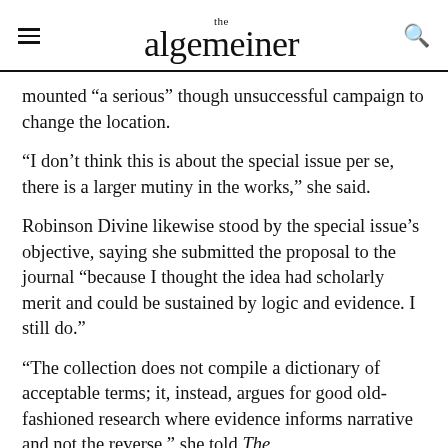the algemeiner
mounted “a serious” though unsuccessful campaign to change the location.
“I don’t think this is about the special issue per se, there is a larger mutiny in the works,” she said.
Robinson Divine likewise stood by the special issue’s objective, saying she submitted the proposal to the journal “because I thought the idea had scholarly merit and could be sustained by logic and evidence. I still do.”
“The collection does not compile a dictionary of acceptable terms; it, instead, argues for good old-fashioned research where evidence informs narrative and not the reverse,” she told The